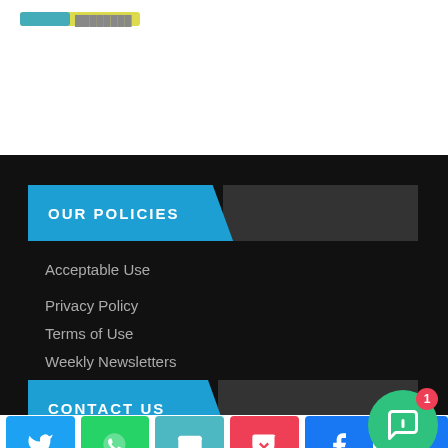[Figure (logo): Website logo in top-left corner on white background]
OUR POLICIES
Acceptable Use
Privacy Policy
Terms of Use
Weekly Newsletters
CONTACT US
[Figure (other): Social sharing buttons bar: Twitter, WhatsApp, Email, Pocket, Facebook, and more. Green notification bubble with red badge showing '1'.]